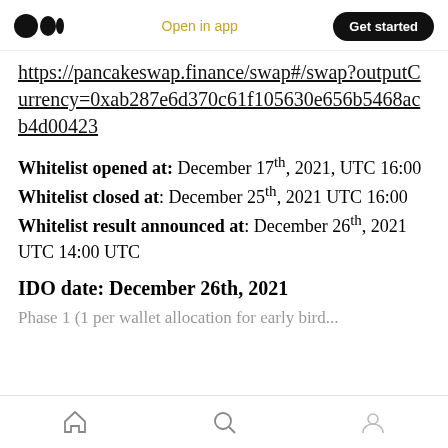Medium logo | Open in app | Get started
https://pancakeswap.finance/swap#/swap?outputCurrency=0xab287e6d370c61f105630e656b5468acb4d00423
Whitelist opened at: December 17th, 2021, UTC 16:00
Whitelist closed at: December 25th, 2021 UTC 16:00
Whitelist result announced at: December 26th, 2021 UTC 14:00 UTC
IDO date: December 26th, 2021
Phase 1 (1 per wallet allocation for early bird...